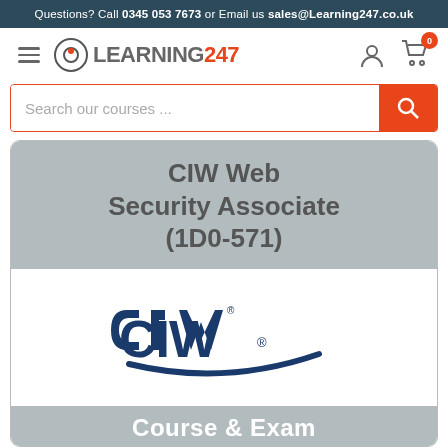Questions? Call 0345 053 7673 or Email us sales@Learning247.co.uk
[Figure (logo): Learning247 logo with hamburger menu, user icon, and cart icon with badge 0]
[Figure (screenshot): Search bar with placeholder text 'Search our courses ...' and orange search button]
CIW Web Security Associate (1D0-571)
[Figure (logo): CIW logo in dark blue with swoosh arc]
Course & Exam